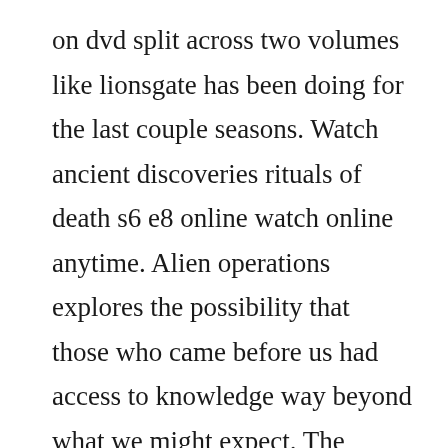on dvd split across two volumes like lionsgate has been doing for the last couple seasons. Watch ancient discoveries rituals of death s6 e8 online watch online anytime. Alien operations explores the possibility that those who came before us had access to knowledge way beyond what we might expect. The findings could be exponential and prove once and for all that the ancient aliens visited our first ancestors thousands of years ago. Ancient aliens explores the controversial theory that extraterrestrials have. Throughout history,